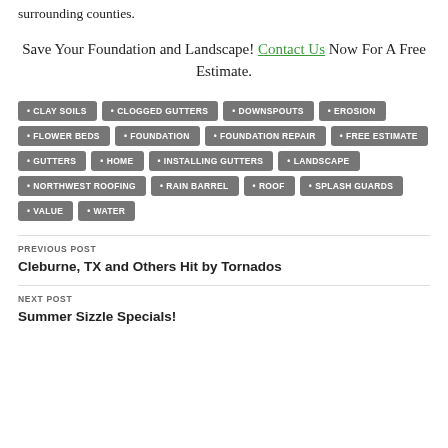surrounding counties.
Save Your Foundation and Landscape! Contact Us Now For A Free Estimate.
CLAY SOILS
CLOGGED GUTTERS
DOWNSPOUTS
EROSION
FLOWER BEDS
FOUNDATION
FOUNDATION REPAIR
FREE ESTIMATE
GUTTERS
HOME
INSTALLING GUTTERS
LANDSCAPE
NORTHWEST ROOFING
RAIN BARREL
ROOF
SPLASH GUARDS
VALUE
WATER
PREVIOUS POST
Cleburne, TX and Others Hit by Tornados
NEXT POST
Summer Sizzle Specials!